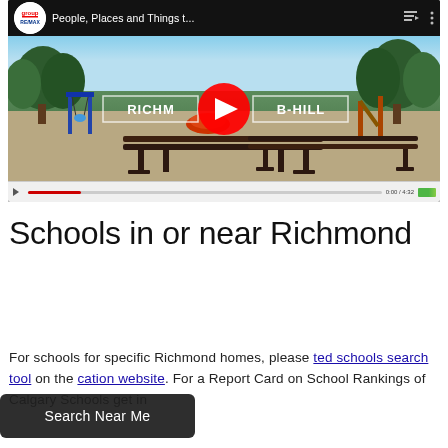[Figure (screenshot): YouTube video thumbnail showing a playground park scene with a bench in the foreground. Video title reads 'People, Places and Things t...' with a RE/MAX group logo. An overlay shows 'RICHMOND B-HILL' text with a red YouTube play button in the center. Video controls are visible at the bottom.]
Schools in or near Richmond
For schools for specific Richmond homes, please [ted schools search tool] on the [cation website]. For a Report Card on School Rankings of Calgary Schools get in